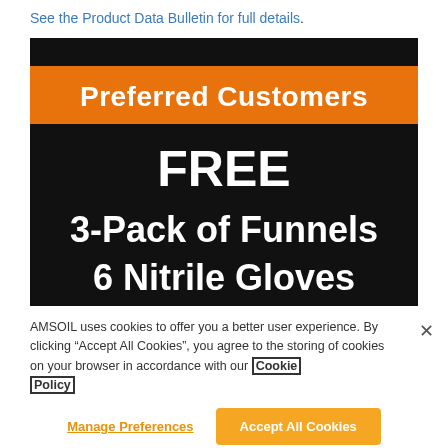See the Product Data Bulletin for full details.
[Figure (infographic): Promotional banner on black background. Orange banner at top reads 'Preferred Customers'. Below in large white bold text: 'FREE 3-Pack of Funnels 6 Nitrile Gloves'.]
AMSOIL uses cookies to offer you a better user experience. By clicking “Accept All Cookies”, you agree to the storing of cookies on your browser in accordance with our Cookie Policy
Manage Preferences
Accept All Cookies